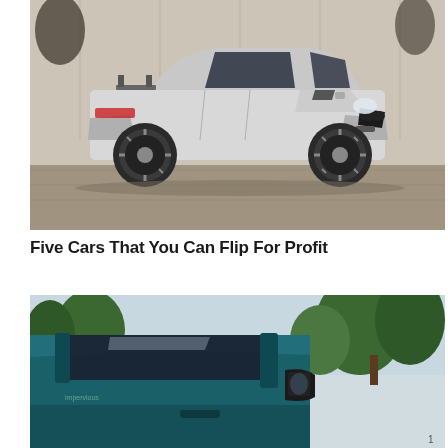[Figure (photo): Silver BMW M3 (E46 generation) lowered with wide aftermarket dark multi-spoke wheels, photographed from a front three-quarter angle in a parking lot. Trees visible in the background. The car has a rear wing, aggressive front bumper, and a custom hood.]
Five Cars That You Can Flip For Profit
[Figure (photo): Close-up of a teal/dark green classic car, showing the roof, rear window, and driver-side mirror from a slightly elevated angle. Trees with green foliage visible in the background. A small sticker or decal is visible on the lower left of the window.]